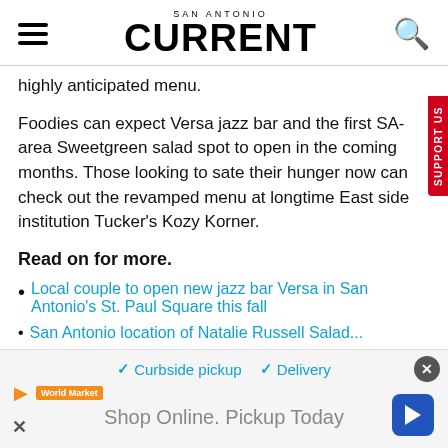SAN ANTONIO CURRENT
highly anticipated menu.
Foodies can expect Versa jazz bar and the first SA-area Sweetgreen salad spot to open in the coming months. Those looking to sate their hunger now can check out the revamped menu at longtime East side institution Tucker's Kozy Korner.
Read on for more.
Local couple to open new jazz bar Versa in San Antonio's St. Paul Square this fall
San Antonio location of Natalie Russell Salad...
[Figure (screenshot): Ad banner at bottom: curbside pickup and delivery checkmarks, play icon, World Market brand badge, 'Shop Online. Pickup Today' text, blue navigation arrow icon, close button]